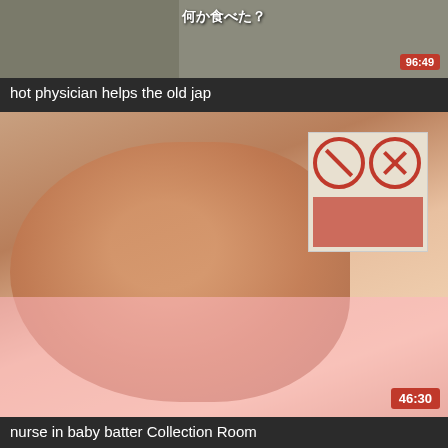[Figure (screenshot): Video thumbnail showing Japanese medical scene with text overlay and duration badge 96:49]
hot physician helps the old jap
[Figure (screenshot): Video thumbnail showing nurse in pink uniform in medical room with warning signs, duration badge 46:30]
nurse in baby batter Collection Room
[Figure (screenshot): Video thumbnail showing nurse figure in room, partially visible]